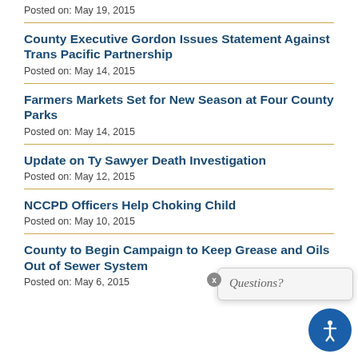Posted on: May 19, 2015
County Executive Gordon Issues Statement Against Trans Pacific Partnership
Posted on: May 14, 2015
Farmers Markets Set for New Season at Four County Parks
Posted on: May 14, 2015
Update on Ty Sawyer Death Investigation
Posted on: May 12, 2015
NCCPD Officers Help Choking Child
Posted on: May 10, 2015
County to Begin Campaign to Keep Grease and Oils Out of Sewer System
Posted on: May 6, 2015